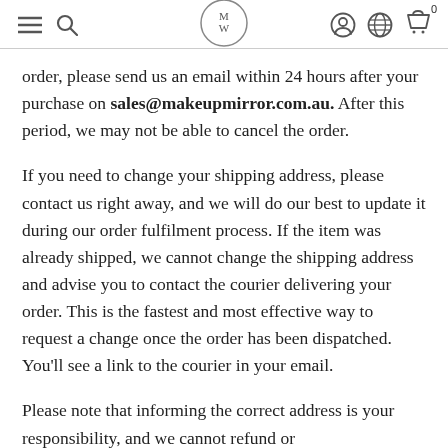M/W logo with hamburger menu, search, account, language, and cart icons
order, please send us an email within 24 hours after your purchase on sales@makeupmirror.com.au. After this period, we may not be able to cancel the order.
If you need to change your shipping address, please contact us right away, and we will do our best to update it during our order fulfilment process. If the item was already shipped, we cannot change the shipping address and advise you to contact the courier delivering your order.  This is the fastest and most effective way to request a change once the order has been dispatched. You'll see a link to the courier in your email.
Please note that informing the correct address is your responsibility, and we cannot refund or